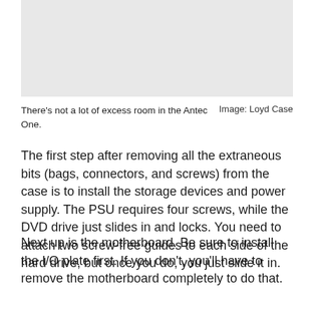[Figure (photo): Photo of the interior of the Antec One case showing limited space]
There’s not a lot of excess room in the Antec One.
Image: Loyd Case
The first step after removing all the extraneous bits (bags, connectors, and screws) from the case is to install the storage devices and power supply. The PSU requires four screws, while the DVD drive just slides in and locks. You need to attach two screw-free guides to each side of the hard drive, but once you do, you just slide it in.
Next up is the motherboard. Be sure to install the I/O plate first. If you don’t, you’ll have to remove the motherboard completely to do that.